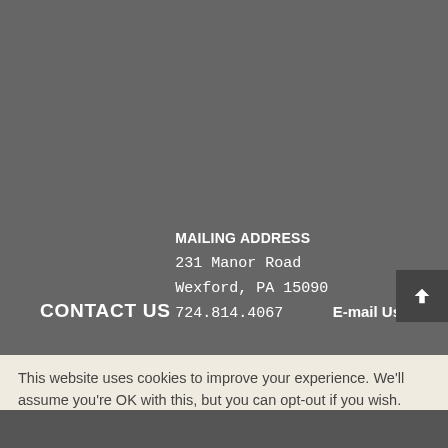Graphic Design
Web Design
Advertising
Charity & Nonprofit
Portfolio
Site Map
CONTACT US
MAILING ADDRESS
231 Manor Road
Wexford, PA 15090
724.814.4067
E-mail Us
This website uses cookies to improve your experience. We'll assume you're OK with this, but you can opt-out if you wish.
Accept
Reject
Read More
Share This
✕